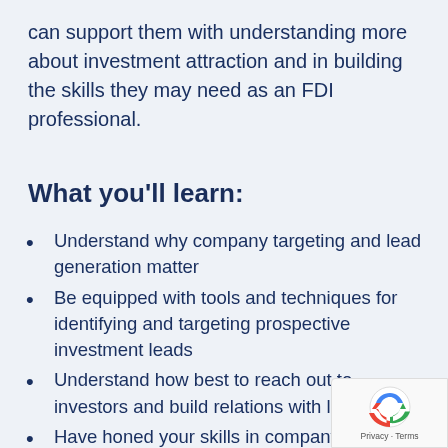can support them with understanding more about investment attraction and in building the skills they may need as an FDI professional.
What you'll learn:
Understand why company targeting and lead generation matter
Be equipped with tools and techniques for identifying and targeting prospective investment leads
Understand how best to reach out to investors and build relations with leads
Have honed your skills in company targeting the use of digital media